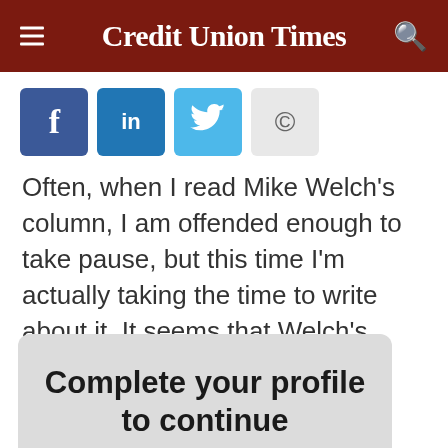Credit Union Times
[Figure (other): Social sharing buttons: Facebook (f), LinkedIn (in), Twitter bird icon, Copyright symbol]
Often, when I read Mike Welch's column, I am offended enough to take pause, but this time I'm actually taking the time to write about it. It seems that Welch's assessment of credit union marketing
Complete your profile to continue